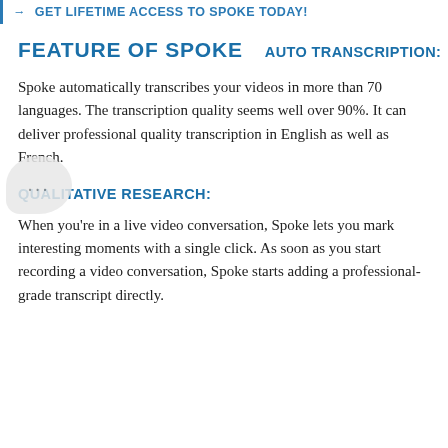→ GET LIFETIME ACCESS TO SPOKE TODAY!
FEATURE OF SPOKE
AUTO TRANSCRIPTION:
Spoke automatically transcribes your videos in more than 70 languages. The transcription quality seems well over 90%. It can deliver professional quality transcription in English as well as French.
QUALITATIVE RESEARCH:
When you're in a live video conversation, Spoke lets you mark interesting moments with a single click. As soon as you start recording a video conversation, Spoke starts adding a professional-grade transcript directly.